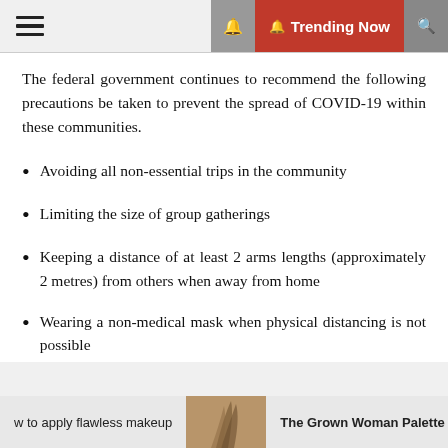≡  🔔 Trending Now 🔍
The federal government continues to recommend the following precautions be taken to prevent the spread of COVID-19 within these communities.
Avoiding all non-essential trips in the community
Limiting the size of group gatherings
Keeping a distance of at least 2 arms lengths (approximately 2 metres) from others when away from home
Wearing a non-medical mask when physical distancing is not possible
w to apply flawless makeup   The Grown Woman Palette